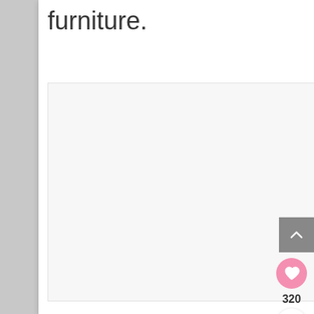furniture.
[Figure (photo): Large white/light gray image placeholder area below the 'furniture.' text]
[Figure (other): UI overlay elements: back-to-top arrow button (gray), heart/like button (pink circle with heart icon), like count '320', and share button (white circle with share icon)]